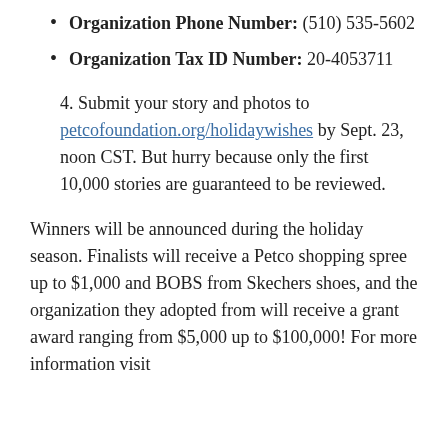Organization Phone Number: (510) 535-5602
Organization Tax ID Number: 20-4053711
4. Submit your story and photos to petcofoundation.org/holidaywishes by Sept. 23, noon CST. But hurry because only the first 10,000 stories are guaranteed to be reviewed.
Winners will be announced during the holiday season. Finalists will receive a Petco shopping spree up to $1,000 and BOBS from Skechers shoes, and the organization they adopted from will receive a grant award ranging from $5,000 up to $100,000! For more information visit…